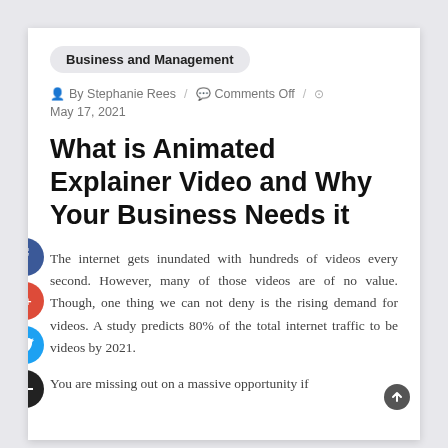Business and Management
By Stephanie Rees / Comments Off / May 17, 2021
What is Animated Explainer Video and Why Your Business Needs it
The internet gets inundated with hundreds of videos every second. However, many of those videos are of no value. Though, one thing we can not deny is the rising demand for videos. A study predicts 80% of the total internet traffic to be videos by 2021.
You are missing out on a massive opportunity if